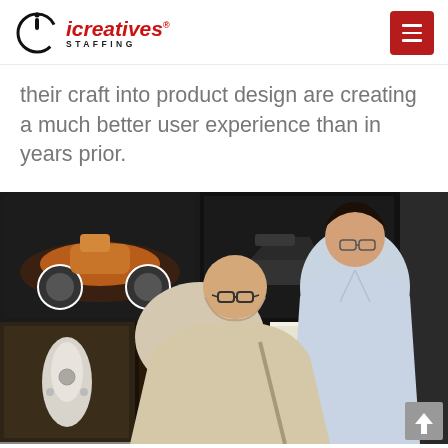icreatives STAFFING
their craft into product design are creating a much better user experience than in years prior.
[Figure (photo): Two men (one with glasses in a light blue shirt, one bald with glasses) viewed from behind, looking at a board covered with printed design sketches of motorcycles, scooters, and other product designs arranged in a grid.]